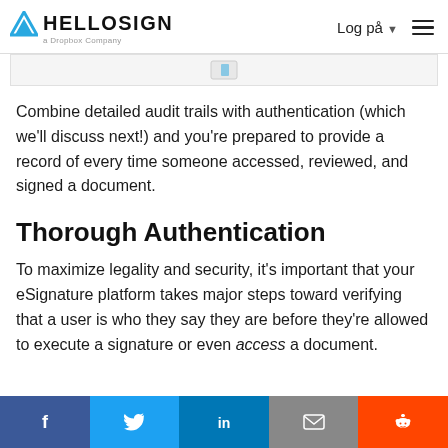HELLOSIGN a Dropbox Company | Log på | menu
[Figure (screenshot): Partial screenshot of a HelloSign document interface showing a blue icon]
Combine detailed audit trails with authentication (which we'll discuss next!) and you're prepared to provide a record of every time someone accessed, reviewed, and signed a document.
Thorough Authentication
To maximize legality and security, it's important that your eSignature platform takes major steps toward verifying that a user is who they say they are before they're allowed to execute a signature or even access a document.
Social share buttons: Facebook, Twitter, LinkedIn, Email, Reddit